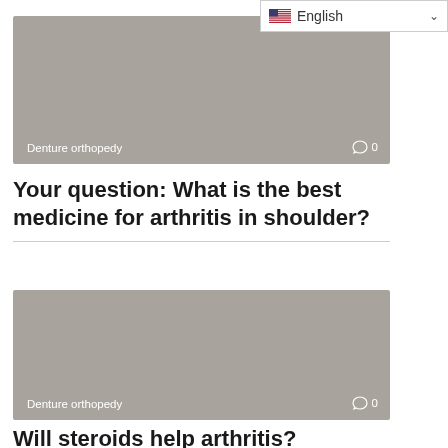[Figure (screenshot): Language selector dropdown showing US flag and 'English' text with a chevron]
[Figure (photo): Gray placeholder image card with 'Denture orthopedy' label and comment count 0 at bottom]
Your question: What is the best medicine for arthritis in shoulder?
If osteoarthritis of the shoulder causes aching pain and limits your ability to move
[Figure (photo): Gray placeholder image card with 'Denture orthopedy' label and comment count 0 at bottom]
Will steroids help arthritis?